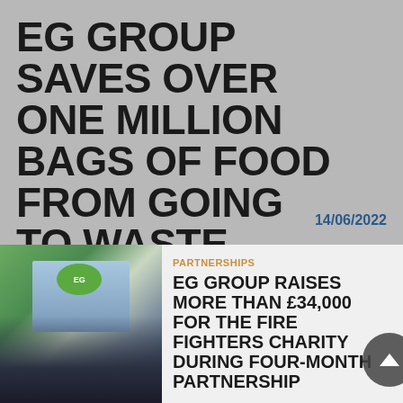EG GROUP SAVES OVER ONE MILLION BAGS OF FOOD FROM GOING TO WASTE
14/06/2022
[Figure (photo): Photo of people standing outside EG Group building holding a large cheque]
PARTNERSHIPS
EG GROUP RAISES MORE THAN £34,000 FOR THE FIRE FIGHTERS CHARITY DURING FOUR-MONTH PARTNERSHIP